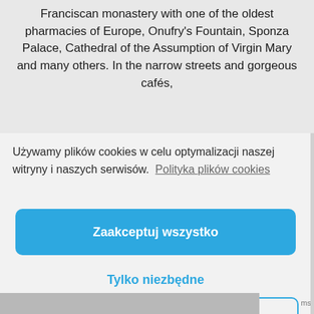Franciscan monastery with one of the oldest pharmacies of Europe, Onufry's Fountain, Sponza Palace, Cathedral of the Assumption of Virgin Mary and many others. In the narrow streets and gorgeous cafés,
Używamy plików cookies w celu optymalizacji naszej witryny i naszych serwisów.  Polityka plików cookies
Zaakceptuj wszystko
Tylko niezbędne
Zobacz preferencje